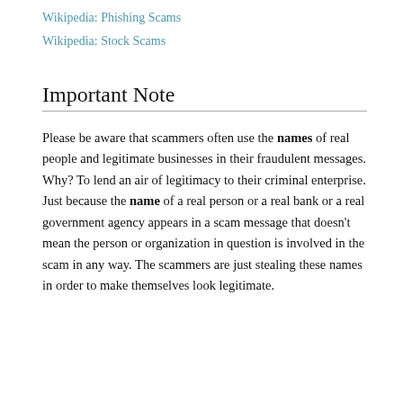Wikipedia: Phishing Scams
Wikipedia: Stock Scams
Important Note
Please be aware that scammers often use the names of real people and legitimate businesses in their fraudulent messages. Why? To lend an air of legitimacy to their criminal enterprise. Just because the name of a real person or a real bank or a real government agency appears in a scam message that doesn't mean the person or organization in question is involved in the scam in any way. The scammers are just stealing these names in order to make themselves look legitimate.